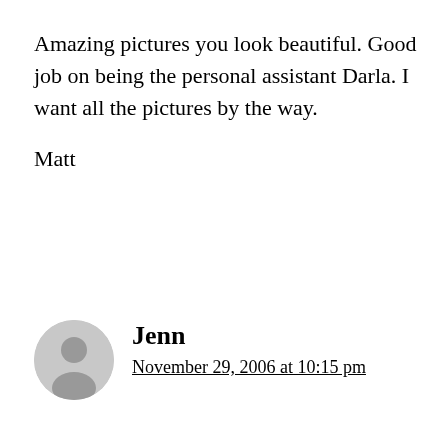Amazing pictures you look beautiful. Good job on being the personal assistant Darla. I want all the pictures by the way.
Matt
Jenn
November 29, 2006 at 10:15 pm
amber lee!
look at you! crazy how time flies…it just feels like it was yesterday when i was baby-sitting